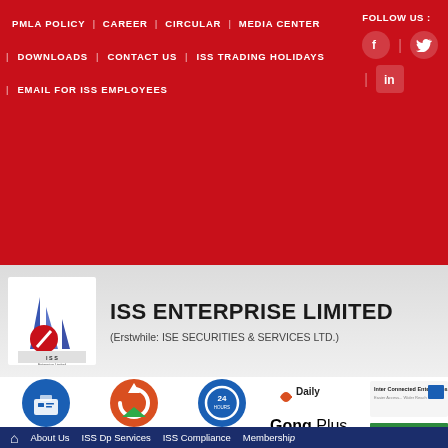PMLA POLICY | CAREER | CIRCULAR | MEDIA CENTER
FOLLOW US :
| DOWNLOADS | CONTACT US | ISS TRADING HOLIDAYS
| EMAIL FOR ISS EMPLOYEES
[Figure (logo): ISS Enterprise Limited logo with stylized blue sails and red circle]
ISS ENTERPRISE LIMITED
(Erstwhile: ISE SECURITIES & SERVICES LTD.)
[Figure (illustration): Attention Investor icon - blue circle with briefcase]
[Figure (illustration): Web Trading icon - orange/green arrow circle]
[Figure (illustration): Back Office icon - blue circle with 24hr symbol]
[Figure (logo): DailyGong Plus logo]
[Figure (logo): Inter Connected Enterprises Ltd logo]
About Us | ISS Dp Services | ISS Compliance | Membership
Search Your Quotes